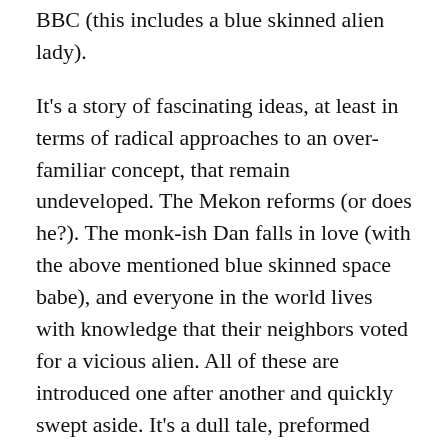BBC (this includes a blue skinned alien lady).
It's a story of fascinating ideas, at least in terms of radical approaches to an over-familiar concept, that remain undeveloped. The Mekon reforms (or does he?). The monk-ish Dan falls in love (with the above mentioned blue skinned space babe), and everyone in the world lives with knowledge that their neighbors voted for a vicious alien. All of these are introduced one after another and quickly swept aside. It's a dull tale, preformed with all the excitement of washing the dishes.
There's going to be more Dan Dare comics, and there's even more we didn't touch on because space is finite. Dan Dare's name evokes too much for the notoriously nostalgic comics industry to give up on him. If anything, the fact that he's been revived so many times just gives him more power – he's not a